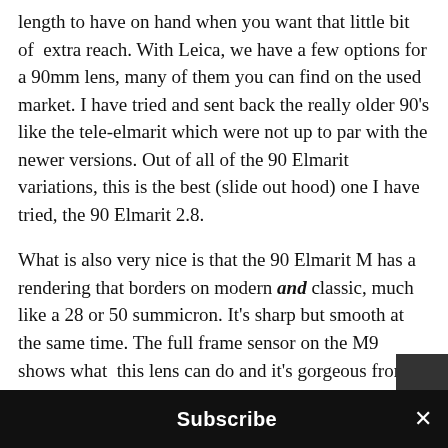length to have on hand when you want that little bit of extra reach. With Leica, we have a few options for a 90mm lens, many of them you can find on the used market. I have tried and sent back the really older 90's like the tele-elmarit which were not up to par with the newer versions. Out of all of the 90 Elmarit variations, this is the best (slide out hood) one I have tried, the 90 Elmarit 2.8.
What is also very nice is that the 90 Elmarit M has a rendering that borders on modern and classic, much like a 28 or 50 summicron. It's sharp but smooth at the same time. The full frame sensor on the M9 shows what this lens can do and it's gorgeous from 2.8 and down.
The next thing is that the lens direction and this l...
Subscribe ×